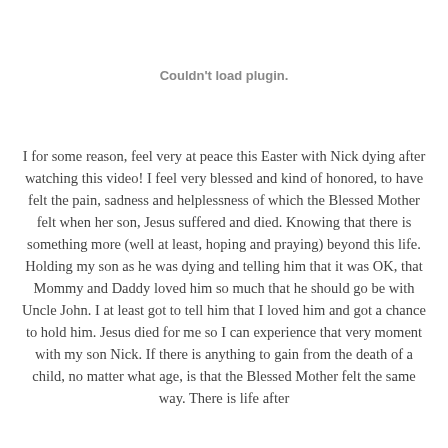Couldn't load plugin.
I for some reason, feel very at peace this Easter with Nick dying after watching this video! I feel very blessed and kind of honored, to have felt the pain, sadness and helplessness of which the Blessed Mother felt when her son, Jesus suffered and died. Knowing that there is something more (well at least, hoping and praying) beyond this life. Holding my son as he was dying and telling him that it was OK, that Mommy and Daddy loved him so much that he should go be with Uncle John. I at least got to tell him that I loved him and got a chance to hold him. Jesus died for me so I can experience that very moment with my son Nick. If there is anything to gain from the death of a child, no matter what age, is that the Blessed Mother felt the same way. There is life after